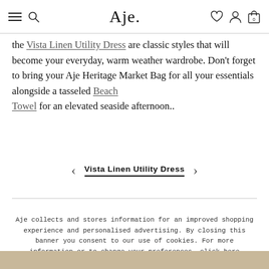Aje. [navigation bar with hamburger menu, search icon, wishlist, account, and cart icons]
the Vista Linen Utility Dress are classic styles that will become your everyday, warm weather wardrobe. Don't forget to bring your Aje Heritage Market Bag for all your essentials alongside a tasseled Beach Towel for an elevated seaside afternoon..
[Figure (screenshot): Carousel navigation area showing left arrow, the label 'Vista Linen Utility Dress' with underline, and right arrow]
Aje collects and stores information for an improved shopping experience and personalised advertising. By closing this banner you consent to our use of cookies. For more information or to change your preferences, click here
[Figure (photo): Bottom strip showing partial product/lifestyle photo]